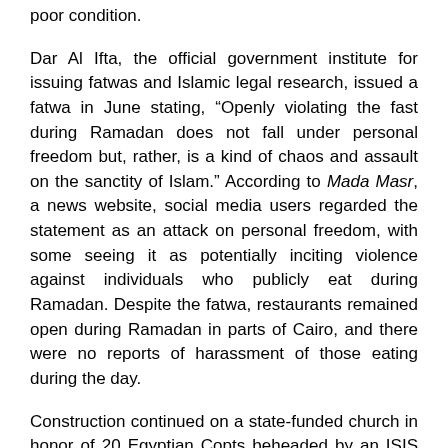poor condition.
Dar Al Ifta, the official government institute for issuing fatwas and Islamic legal research, issued a fatwa in June stating, “Openly violating the fast during Ramadan does not fall under personal freedom but, rather, is a kind of chaos and assault on the sanctity of Islam.” According to Mada Masr, a news website, social media users regarded the statement as an attack on personal freedom, with some seeing it as potentially inciting violence against individuals who publicly eat during Ramadan. Despite the fatwa, restaurants remained open during Ramadan in parts of Cairo, and there were no reports of harassment of those eating during the day.
Construction continued on a state-funded church in honor of 20 Egyptian Copts beheaded by an ISIS affiliate in Libya.
Section III. Status of Societal